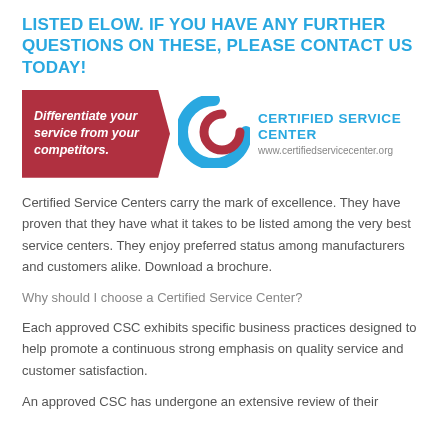LISTED ELOW. IF YOU HAVE ANY FURTHER QUESTIONS ON THESE, PLEASE CONTACT US TODAY!
[Figure (logo): Certified Service Center logo with red banner reading 'Differentiate your service from your competitors.' and blue CSC emblem, with text 'CERTIFIED SERVICE CENTER www.certifiedservicecenter.org']
Certified Service Centers carry the mark of excellence. They have proven that they have what it takes to be listed among the very best service centers. They enjoy preferred status among manufacturers and customers alike. Download a brochure.
Why should I choose a Certified Service Center?
Each approved CSC exhibits specific business practices designed to help promote a continuous strong emphasis on quality service and customer satisfaction.
An approved CSC has undergone an extensive review of their